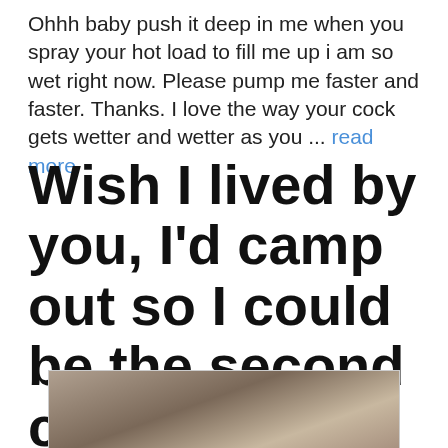Ohhh baby push it deep in me when you spray your hot load to fill me up i am so wet right now. Please pump me faster and faster. Thanks. I love the way your cock gets wetter and wetter as you ... read more
Wish I lived by you, I'd camp out so I could be the second cock in the room.
November 14, 2021
[Figure (photo): Photo of a woman]